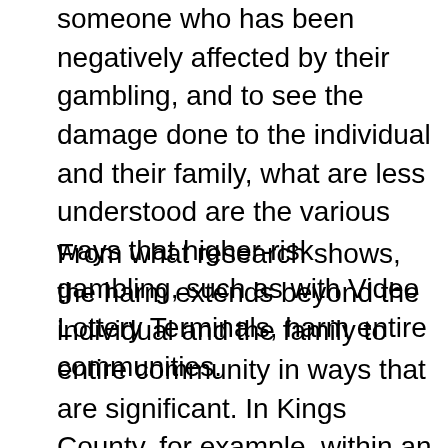someone who has been negatively affected by their gambling, and to see the damage done to the individual and their family, what are less understood are the various ways that higher-risk gambling, such as with Video Lottery Terminals, harm entire communities.
From what research shows, the harm extends beyond the individual and the family to entire community in ways that are significant. In Kings County, for example, within an area between Windsor and Berwick, $4 million dollars a year of the money that is spent on VLTs leaves the county in payment to the Atlantic Lottery Corporation. The money lost is not kept within the community to support local businesses, local not-for-profits or charities, and communities are weaker because of